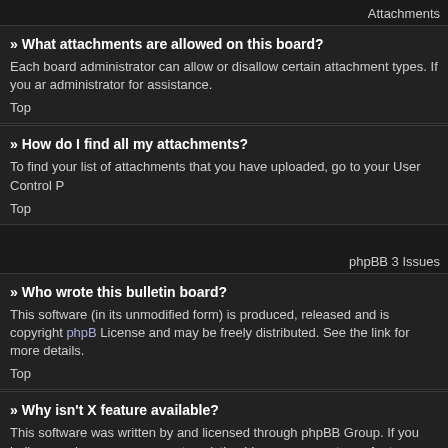Attachments
» What attachments are allowed on this board?
Each board administrator can allow or disallow certain attachment types. If you are administrator for assistance.
Top
» How do I find all my attachments?
To find your list of attachments that you have uploaded, go to your User Control P
Top
phpBB 3 Issues
» Who wrote this bulletin board?
This software (in its unmodified form) is produced, released and is copyright phpB License and may be freely distributed. See the link for more details.
Top
» Why isn't X feature available?
This software was written by and licensed through phpBB Group. If you believe a where you can upvote existing ideas or suggest new features.
Top
» Who do I contact about abusive and/or legal matters related to this board?